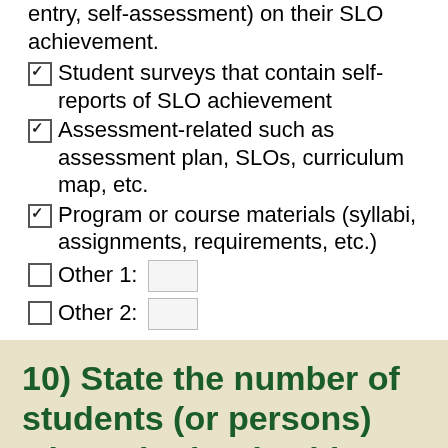entry, self-assessment) on their SLO achievement.
Student surveys that contain self-reports of SLO achievement
Assessment-related such as assessment plan, SLOs, curriculum map, etc.
Program or course materials (syllabi, assignments, requirements, etc.)
Other 1:
Other 2:
10) State the number of students (or persons) who submitted evidence that was evaluated. If applicable, please include the sampling technique used.